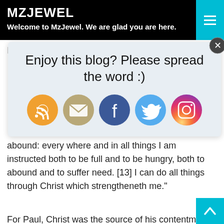MZJEWEL
Welcome to MzJewel. We are glad you are here.
[Figure (screenshot): Popup overlay with text 'Enjoy this blog? Please spread the word :)' and five social media icon buttons: RSS (orange), Email (tan/gold), Facebook (blue), Twitter (light blue), Instagram (gradient pink/purple). A close button (X) appears in the top-right corner.]
know both how to be abased, and I know how to abound: every where and in all things I am instructed both to be full and to be hungry, both to abound and to suffer need. [13] I can do all things through Christ which strengtheneth me."
For Paul, Christ was the source of his contentment. He knew that to live was Christ and to die was gain. He knew that whether he lived in abundance or lack, he was secured in Christ. The spirit strengthened him to face